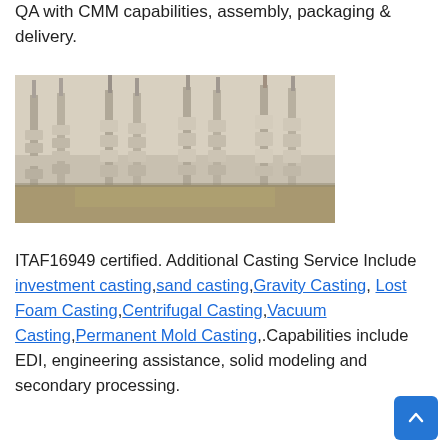QA with CMM capabilities, assembly, packaging & delivery.
[Figure (photo): Industrial casting molds arranged in rows on a manufacturing floor, showing multiple white/grey casting tree assemblies standing upright.]
ITAF16949 certified. Additional Casting Service Include investment casting,sand casting,Gravity Casting, Lost Foam Casting,Centrifugal Casting,Vacuum Casting,Permanent Mold Casting,.Capabilities include EDI, engineering assistance, solid modeling and secondary processing.